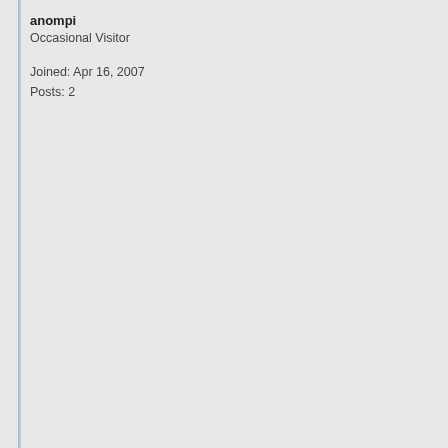anompi
Occasional Visitor
Joined: Apr 16, 2007
Posts: 2